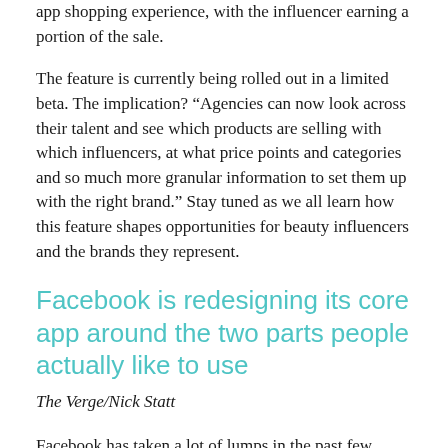app shopping experience, with the influencer earning a portion of the sale.
The feature is currently being rolled out in a limited beta. The implication? “Agencies can now look across their talent and see which products are selling with which influencers, at what price points and categories and so much more granular information to set them up with the right brand.” Stay tuned as we all learn how this feature shapes opportunities for beauty influencers and the brands they represent.
Facebook is redesigning its core app around the two parts people actually like to use
The Verge/Nick Statt
Facebook has taken a lot of lumps in the past few years, with data misappropriation scandals, privacy concerns, a